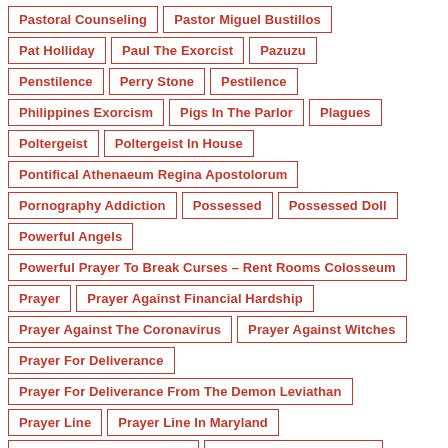Pastoral Counseling
Pastor Miguel Bustillos
Pat Holliday
Paul The Exorcist
Pazuzu
Penstilence
Perry Stone
Pestilence
Philippines Exorcism
Pigs In The Parlor
Plagues
Poltergeist
Poltergeist In House
Pontifical Athenaeum Regina Apostolorum
Pornography Addiction
Possessed
Possessed Doll
Powerful Angels
Powerful Prayer To Break Curses – Rent Rooms Colosseum
Prayer
Prayer Against Financial Hardship
Prayer Against The Coronavirus
Prayer Against Witches
Prayer For Deliverance
Prayer For Deliverance From The Demon Leviathan
Prayer Line
Prayer Line In Maryland
Prayers Against Witchcraft
Prayers To Break Curses